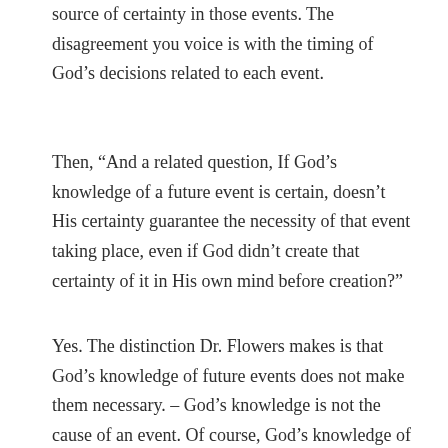source of certainty in those events. The disagreement you voice is with the timing of God’s decisions related to each event.
Then, “And a related question, If God’s knowledge of a future event is certain, doesn’t His certainty guarantee the necessity of that event taking place, even if God didn’t create that certainty of it in His own mind before creation?”
Yes. The distinction Dr. Flowers makes is that God’s knowledge of future events does not make them necessary. – God’s knowledge is not the cause of an event. Of course, God’s knowledge of what He will do is a knowledge of the causes and the determiners of